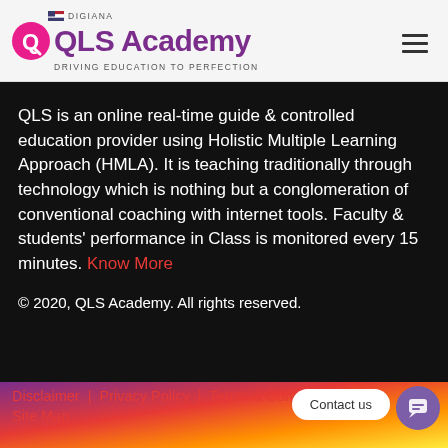[Figure (logo): QLS Academy logo with DIGIANA above, pink circle icon with Q, purple text 'QLS Academy', tagline 'DRIVING EDUCATION TO PERFECTION']
QLS is an online real-time guide & controlled education provider using Holistic Multiple Learning Approach (HMLA). It is teaching traditionally through technology which is nothing but a conglomeration of conventional coaching with internet tools. Faculty & students' performance in Class is monitored every 15 minutes. Know More
© 2020, QLS Academy. All rights reserved.
Disclaimer | Privacy Policy | Terms & Conditions | Refund Policy | Site Map
[Figure (other): Contact us chat button and chat icon on gradient footer]